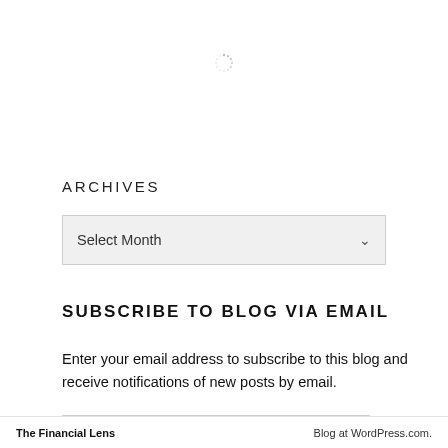[Figure (other): Loading spinner icon in the upper center of the page]
ARCHIVES
[Figure (other): Select Month dropdown control with chevron arrow]
SUBSCRIBE TO BLOG VIA EMAIL
Enter your email address to subscribe to this blog and receive notifications of new posts by email.
The Financial Lens    Blog at WordPress.com.